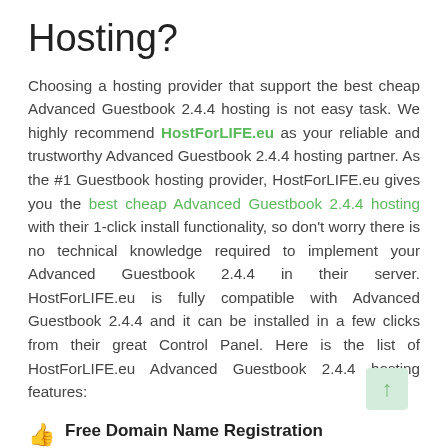Hosting?
Choosing a hosting provider that support the best cheap Advanced Guestbook 2.4.4 hosting is not easy task. We highly recommend HostForLIFE.eu as your reliable and trustworthy Advanced Guestbook 2.4.4 hosting partner. As the #1 Guestbook hosting provider, HostForLIFE.eu gives you the best cheap Advanced Guestbook 2.4.4 hosting with their 1-click install functionality, so don't worry there is no technical knowledge required to implement your Advanced Guestbook 2.4.4 in their server. HostForLIFE.eu is fully compatible with Advanced Guestbook 2.4.4 and it can be installed in a few clicks from their great Control Panel. Here is the list of HostForLIFE.eu Advanced Guestbook 2.4.4 hosting features:
Free Domain Name Registration
Register a FREE Domain of choice by opting to pay annually or biennially for your hosting package!